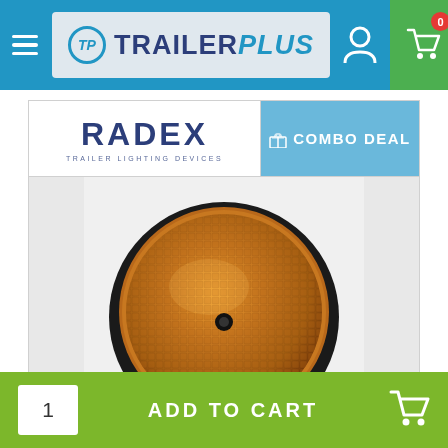TrailerPlus navigation bar with hamburger menu, logo, user icon, and cart icon showing 0 items
[Figure (logo): RADEX Trailer Lighting Devices brand logo]
COMBO DEAL
[Figure (photo): Close-up photo of a round amber/orange reflector with black mount, screw hole in center]
1  ADD TO CART